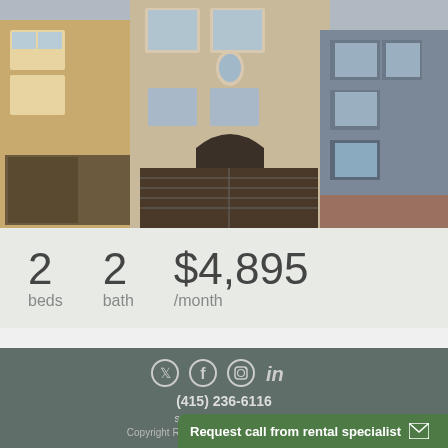[Figure (photo): Exterior photo of a multi-story San Francisco townhouse with garage door, arched entry, and neighboring buildings]
2 beds   2 bath   $4,895 /month
(415) 236-6116
service@relisto.com
Copyright ReLISTO 2022 All rights reserved
Legal
Terms
Request call from rental specialist